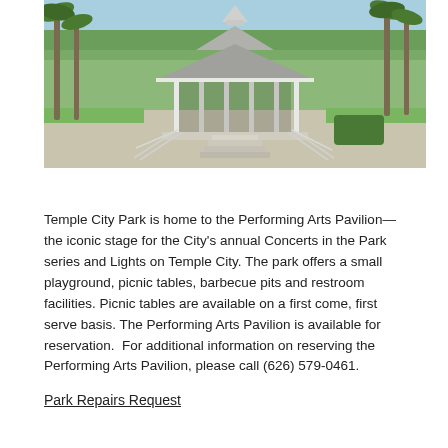[Figure (photo): Photograph of Temple City Park's Performing Arts Pavilion—a white octagonal bandstand with tiered roof and surrounding railings, surrounded by palm trees and green lawn under a blue sky.]
Temple City Park is home to the Performing Arts Pavilion—the iconic stage for the City's annual Concerts in the Park series and Lights on Temple City. The park offers a small playground, picnic tables, barbecue pits and restroom facilities. Picnic tables are available on a first come, first serve basis. The Performing Arts Pavilion is available for reservation.  For additional information on reserving the Performing Arts Pavilion, please call (626) 579-0461.
Park Repairs Request